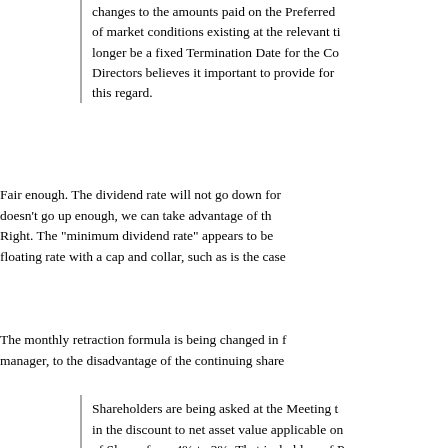changes to the amounts paid on the Preferred of market conditions existing at the relevant ti longer be a fixed Termination Date for the Co Directors believes it important to provide for this regard.
Fair enough. The dividend rate will not go down for doesn't go up enough, we can take advantage of th Right. The "minimum dividend rate" appears to be floating rate with a cap and collar, such as is the case
The monthly retraction formula is being changed in f manager, to the disadvantage of the continuing share
Shareholders are being asked at the Meeting t in the discount to net asset value applicable on of Shares from 4% to 2%. That is, holders of Pr be entitled to receive a price per share equa $10.00 and (ii) 98% of the net asset value per the applicable retraction date, less the cost to purchase of a Class A Share in the market for any other applicable costs and holders of Clas entitled to receive a retraction price per share net asset value per Unit determined as of the date, less the cost to the Company of the pu Share in the market for cancellation and less costs.